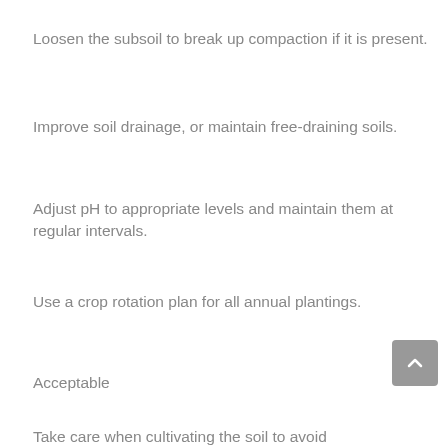Loosen the subsoil to break up compaction if it is present.
Improve soil drainage, or maintain free-draining soils.
Adjust pH to appropriate levels and maintain them at regular intervals.
Use a crop rotation plan for all annual plantings.
Acceptable
Take care when cultivating the soil to avoid